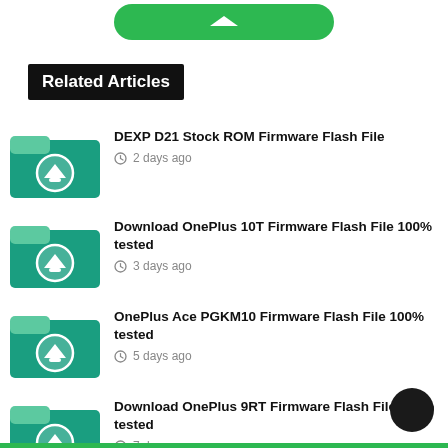[Figure (other): Green rounded button at top of page]
Related Articles
[Figure (other): Teal folder download icon]
DEXP D21 Stock ROM Firmware Flash File
2 days ago
[Figure (other): Teal folder download icon]
Download OnePlus 10T Firmware Flash File 100% tested
3 days ago
[Figure (other): Teal folder download icon]
OnePlus Ace PGKM10 Firmware Flash File 100% tested
5 days ago
[Figure (other): Teal folder download icon]
Download OnePlus 9RT Firmware Flash File 100% tested
7 days ago